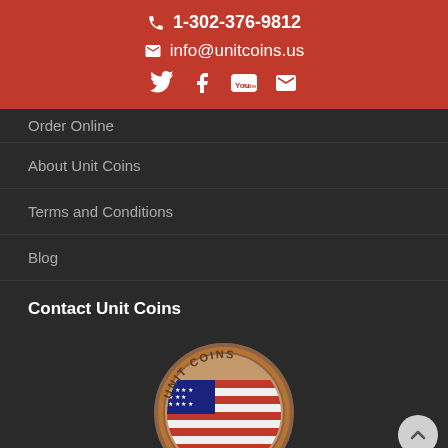1-302-376-9812
info@unitcoins.us
Order Online
About Unit Coins
Terms and Conditions
Blog
Contact Unit Coins
[Figure (photo): Unit Coins logo — a bronze challenge coin featuring an American flag and an eagle, with 'UNIT COINS' text around the top edge.]